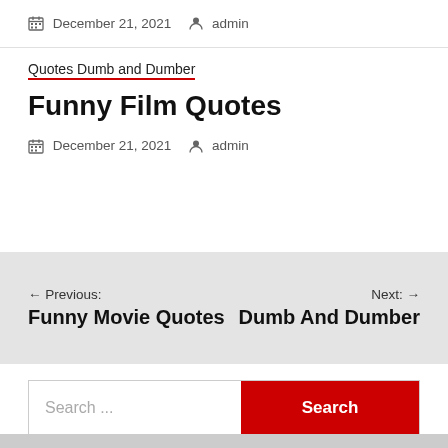December 21, 2021  admin
Quotes Dumb and Dumber
Funny Film Quotes
December 21, 2021  admin
← Previous: Funny Movie Quotes   Next: → Dumb And Dumber
Search ...  Search